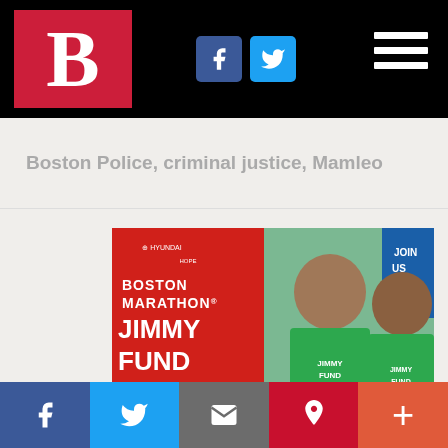[Figure (logo): Boston B logo in red box with white bold B, on black header bar]
[Figure (logo): Facebook and Twitter social icons in header]
[Figure (infographic): Hamburger menu icon in top right of header]
Boston Police, criminal justice, Mamleo
[Figure (photo): Boston Marathon Jimmy Fund Walk advertisement. Red panel with Hyundai logo, text BOSTON MARATHON JIMMY FUND WALK. Two people in green Jimmy Fund Walk t-shirts. Text: USE CODE BAYSTATE, WALK WITH US TO DEFY CANCER.]
[Figure (infographic): Bottom social sharing bar with Facebook, Twitter, Email, Pinterest, and More buttons]